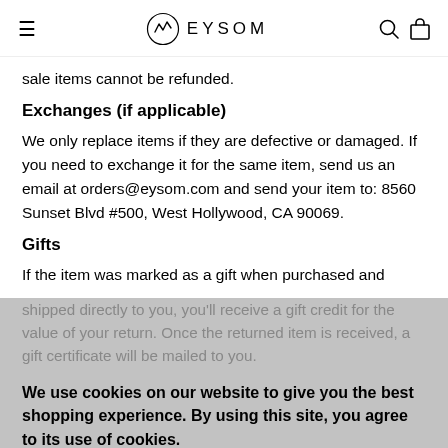EYSOM
sale items cannot be refunded.
Exchanges (if applicable)
We only replace items if they are defective or damaged. If you need to exchange it for the same item, send us an email at orders@eysom.com and send your item to: 8560 Sunset Blvd #500, West Hollywood, CA 90069.
Gifts
If the item was marked as a gift when purchased and shipped directly to you, you'll receive a gift credit for the value of your return. Once the returned item is received, a gift certificate will be mailed to you.
If the item wasn't marked as a gift when purchased, or the gift giver had the order shipped to themselves to give to you later, we will send a refund to the gift giver and he will
We use cookies on our website to give you the best shopping experience. By using this site, you agree to its use of cookies.